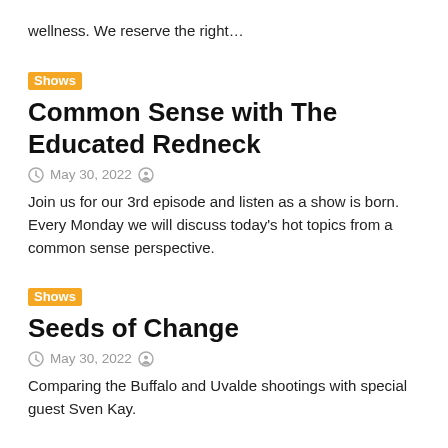wellness. We reserve the right...
Shows
Common Sense with The Educated Redneck
May 30, 2022
Join us for our 3rd episode and listen as a show is born. Every Monday we will discuss today's hot topics from a common sense perspective.
Shows
Seeds of Change
May 30, 2022
Comparing the Buffalo and Uvalde shootings with special guest Sven Kay.